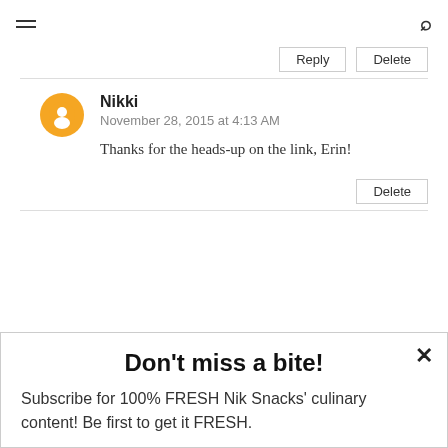≡  🔍
Reply  Delete
Nikki
November 28, 2015 at 4:13 AM
Thanks for the heads-up on the link, Erin!
Delete
Don't miss a bite!
Subscribe for 100% FRESH Nik Snacks' culinary content!  Be first to get it FRESH.